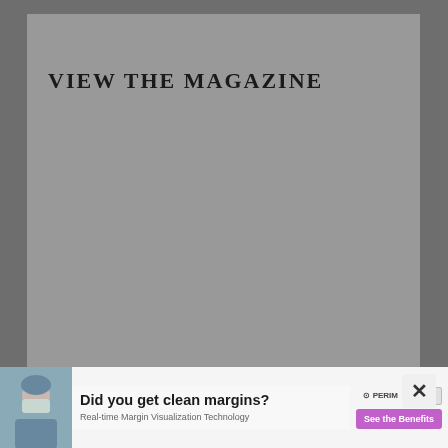VIEW THE MAGAZINE
[Figure (screenshot): Gray content panel area representing a magazine viewer embedded in a webpage, mostly empty gray background]
[Figure (photo): Advertisement banner at bottom: 'Did you get clean margins?' with surgeon in mask photo, Perimeter brand logo, and 'See the Benefits' purple button. Subtitle: Real-time Margin Visualization Technology]